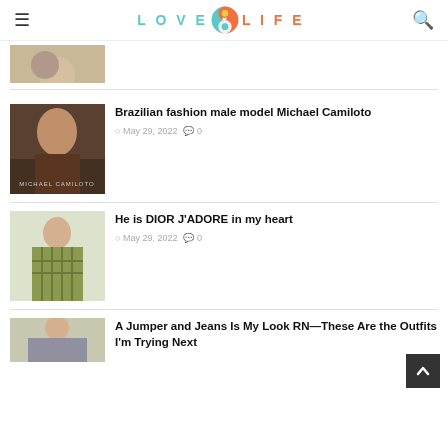LOVE LIFE (logo with heart icon)
[Figure (photo): Partial view of couple embracing, top of image cropped]
Brazilian fashion male model Michael Camiloto
May 29, 2022  0
[Figure (photo): Portrait of male model Michael Camiloto with text overlay at bottom]
He is DIOR J'ADORE in my heart
May 29, 2022  0
[Figure (photo): Male model in green plaid jacket seated]
A Jumper and Jeans Is My Look RN—These Are the Outfits I'm Trying Next
[Figure (photo): Partial thumbnail of outfit article]